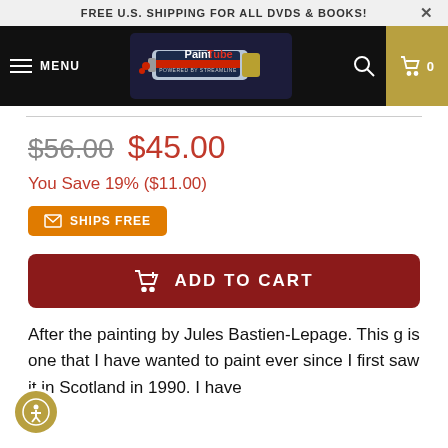FREE U.S. SHIPPING FOR ALL DVDS & BOOKS!
[Figure (logo): PaintTube logo — paint tube graphic with 'PaintTube Powered by Streamline' text on dark background]
$56.00  $45.00
You Save 19% ($11.00)
SHIPS FREE
ADD TO CART
After the painting by Jules Bastien-Lepage. This g is one that I have wanted to paint ever since I first saw it in Scotland in 1990. I have